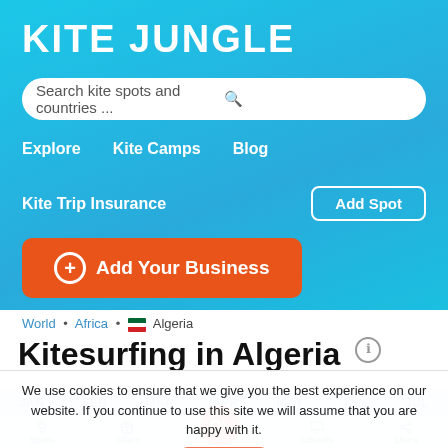[Figure (screenshot): Kite Jungle website header with logo, search bar, navigation links, and Add Your Business button on a cyan/blue gradient background]
Kitesurfing in Algeria
World • Africa • Algeria
We use cookies to ensure that we give you the best experience on our website. If you continue to use this site we will assume that you are happy with it.
JAN FEB MAR APR MAY JUN JUL